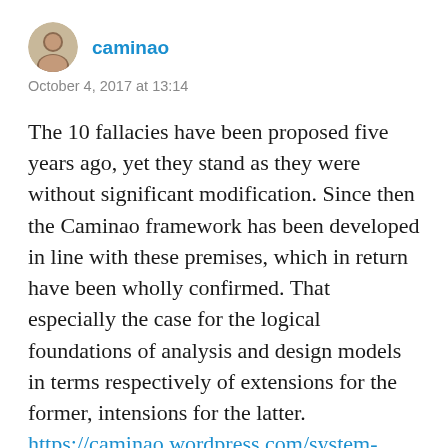caminao
October 4, 2017 at 13:14
The 10 fallacies have been proposed five years ago, yet they stand as they were without significant modification. Since then the Caminao framework has been developed in line with these premises, which in return have been wholly confirmed. That especially the case for the logical foundations of analysis and design models in terms respectively of extensions for the former, intensions for the latter. https://caminao.wordpress.com/system-engineering/models-perspectives/abse/ And the theoretical confirmation has been accompanied by a pragmatic one as the